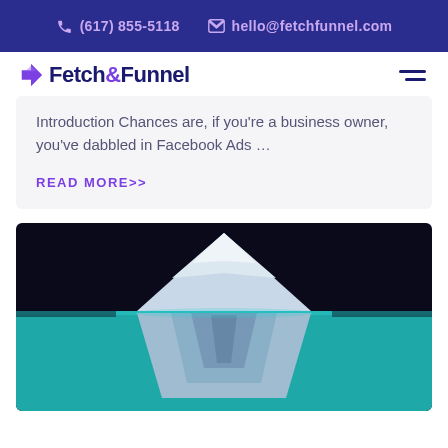(617) 855-5118  hello@fetchfunnel.com
[Figure (logo): Fetch & Funnel logo with arrow icon and text]
Introduction Chances are, if you're a business owner, you've dabbled in Facebook Ads …
READ MORE>>
[Figure (illustration): Iceberg illustration showing above and below water view, teal ocean colors]